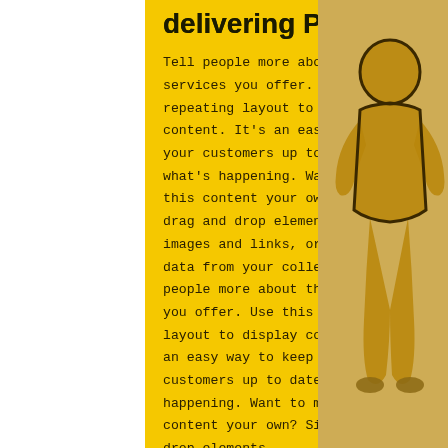delivering Projects
Tell people more about the services you offer. Use this repeating layout to display content. It's an easy way to keep your customers up to date with what's happening. Want to make this content your own? Simple drag and drop elements like text, images and links, or connect to data from your collection. Tell people more about the services you offer. Use this repeating layout to display content. It's an easy way to keep your customers up to date with what's happening. Want to make this content your own? Simply drag and drop elements.
[Figure (illustration): Cardboard/craft paper cutout silhouette of a person figure visible on the right side of the page against a beige/tan background]